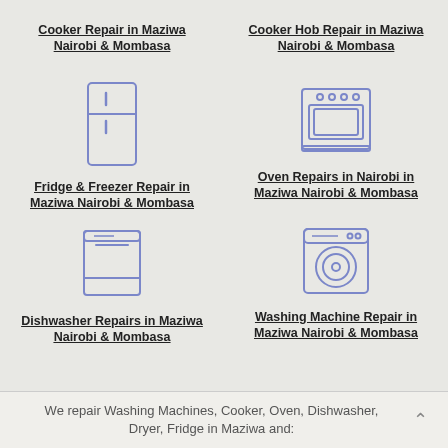Cooker Repair in Maziwa Nairobi & Mombasa
Cooker Hob Repair in Maziwa Nairobi & Mombasa
[Figure (illustration): Blue outline icon of a refrigerator/freezer]
Fridge & Freezer Repair in Maziwa Nairobi & Mombasa
[Figure (illustration): Blue outline icon of an oven/cooker hob]
Oven Repairs in Nairobi in Maziwa Nairobi & Mombasa
[Figure (illustration): Blue outline icon of a dishwasher]
Dishwasher Repairs in Maziwa Nairobi & Mombasa
[Figure (illustration): Blue outline icon of a washing machine]
Washing Machine Repair in Maziwa Nairobi & Mombasa
We repair Washing Machines, Cooker, Oven, Dishwasher, Dryer, Fridge in Maziwa and: